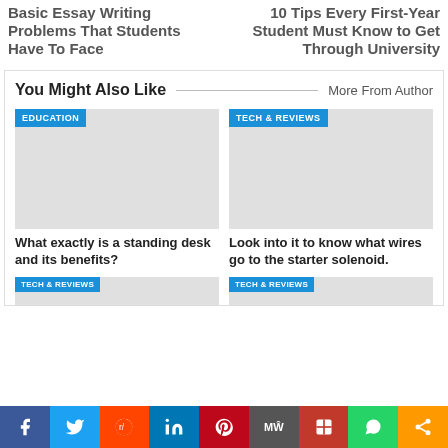Basic Essay Writing Problems That Students Have To Face
10 Tips Every First-Year Student Must Know to Get Through University
You Might Also Like
More From Author
[Figure (photo): Image placeholder with EDUCATION badge]
What exactly is a standing desk and its benefits?
[Figure (photo): Image placeholder with TECH & REVIEWS badge]
Look into it to know what wires go to the starter solenoid.
[Figure (photo): Image placeholder with TECH & REVIEWS badge (bottom left)]
[Figure (photo): Image placeholder with TECH & REVIEWS badge (bottom right)]